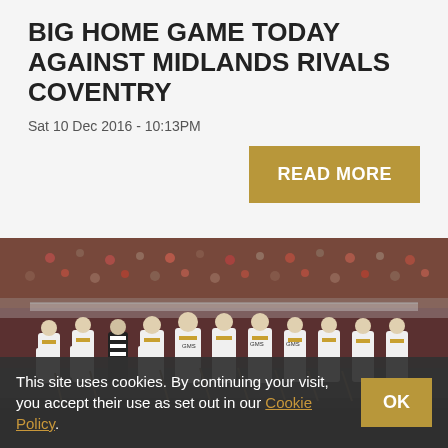BIG HOME GAME TODAY AGAINST MIDLANDS RIVALS COVENTRY
Sat 10 Dec 2016 - 10:13PM
[Figure (photo): Ice hockey team (Nottingham Panthers) lined up on ice rink with crowd in background, players wearing white and yellow jerseys with GMS sponsor]
This site uses cookies. By continuing your visit, you accept their use as set out in our Cookie Policy.